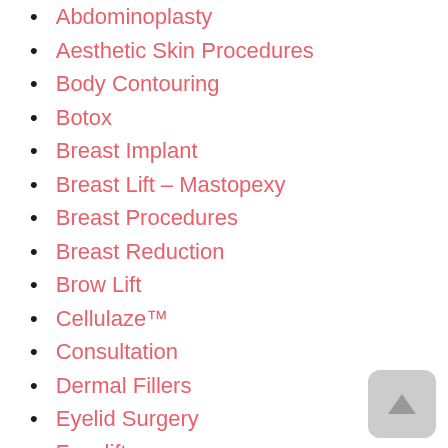Abdominoplasty
Aesthetic Skin Procedures
Body Contouring
Botox
Breast Implant
Breast Lift – Mastopexy
Breast Procedures
Breast Reduction
Brow Lift
Cellulaze™
Consultation
Dermal Fillers
Eyelid Surgery
Facelift
Facial Implant Surgery
Facial Rejuvenation